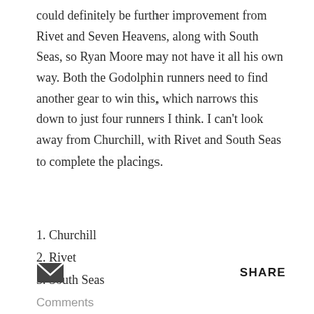could definitely be further improvement from Rivet and Seven Heavens, along with South Seas, so Ryan Moore may not have it all his own way. Both the Godolphin runners need to find another gear to win this, which narrows this down to just four runners I think. I can't look away from Churchill, with Rivet and South Seas to complete the placings.
1. Churchill
2. Rivet
3. South Seas
[Figure (other): Email/envelope icon]
SHARE
Comments